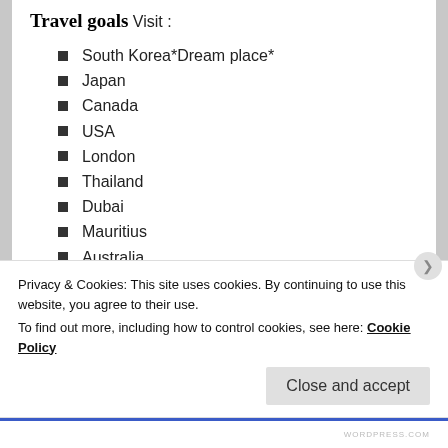Travel goals
Visit :
South Korea*Dream place*
Japan
Canada
USA
London
Thailand
Dubai
Mauritius
Australia
China
Egypt
Privacy & Cookies: This site uses cookies. By continuing to use this website, you agree to their use.
To find out more, including how to control cookies, see here: Cookie Policy
Close and accept